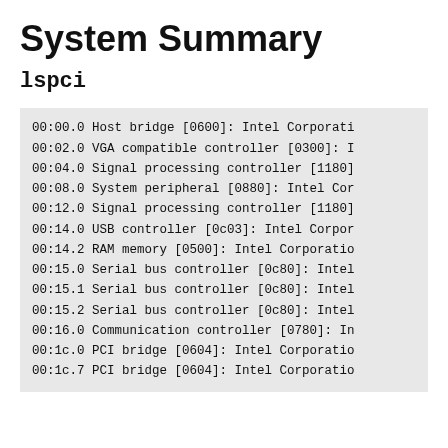System Summary
lspci
00:00.0 Host bridge [0600]: Intel Corporati
00:02.0 VGA compatible controller [0300]: I
00:04.0 Signal processing controller [1180]
00:08.0 System peripheral [0880]: Intel Cor
00:12.0 Signal processing controller [1180]
00:14.0 USB controller [0c03]: Intel Corpor
00:14.2 RAM memory [0500]: Intel Corporatio
00:15.0 Serial bus controller [0c80]: Intel
00:15.1 Serial bus controller [0c80]: Intel
00:15.2 Serial bus controller [0c80]: Intel
00:16.0 Communication controller [0780]: In
00:1c.0 PCI bridge [0604]: Intel Corporatio
00:1c.7 PCI bridge [0604]: Intel Corporatio